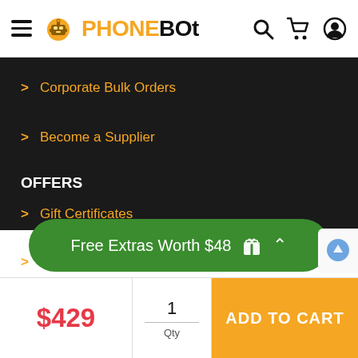[Figure (logo): PhoneBot logo with robot icon and brand name]
> Corporate Bulk Orders
> Become a Supplier
OFFERS
> Gift Certificates
> Specials
> Wish List
ENV
Free Extras Worth $48
$429
1 Qty
ADD TO CART